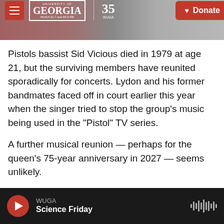University of Georgia WUGA 91.7 and 94.5 FM | 35 WUGA | Donate
Pistols bassist Sid Vicious died in 1979 at age 21, but the surviving members have reunited sporadically for concerts. Lydon and his former bandmates faced off in court earlier this year when the singer tried to stop the group's music being used in the "Pistol" TV series.
A further musical reunion — perhaps for the queen's 75-year anniversary in 2027 — seems unlikely.
"I can't see it," Jones said. "But you never know, man. This band — you never know."
Copyright 2022 NPR. To see more, visit
WUGA | Science Friday